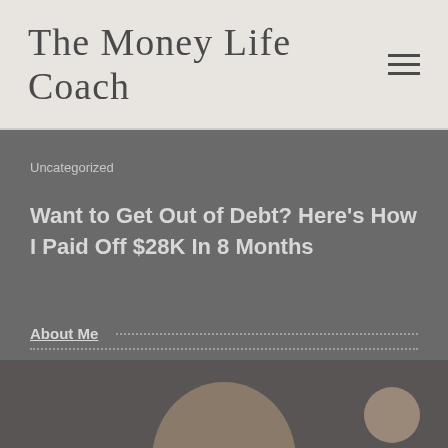The Money Life Coach
Uncategorized
Want to Get Out of Debt? Here’s How I Paid Off $28K In 8 Months
About Me
[Figure (photo): Partial photo of a person, cropped at bottom of page]